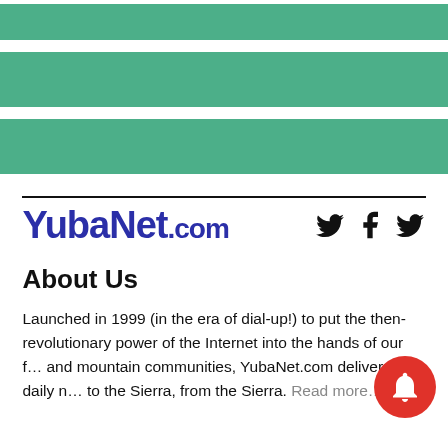[Figure (other): Three horizontal green banner bars stacked near the top of the page]
YubaNet.com
About Us
Launched in 1999 (in the era of dial-up!) to put the then-revolutionary power of the Internet into the hands of our f... and mountain communities, YubaNet.com delivers daily n... to the Sierra, from the Sierra. Read more...